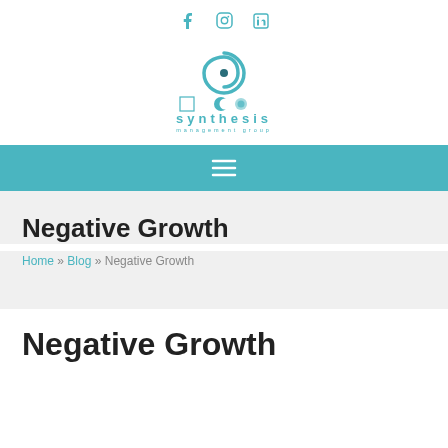Social icons: Facebook, Instagram, LinkedIn
[Figure (logo): Synthesis Management Group logo with spiral graphic and moon phase icons above the company name]
Navigation menu bar with hamburger icon
Negative Growth
Home » Blog » Negative Growth
Negative Growth